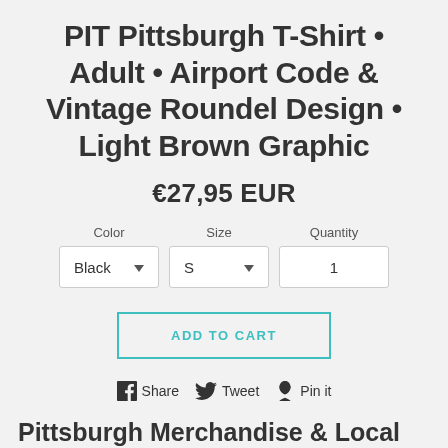PIT Pittsburgh T-Shirt • Adult • Airport Code & Vintage Roundel Design • Light Brown Graphic
€27,95 EUR
Color  Size  Quantity
Black ▼  S ▼  1
ADD TO CART
Share  Tweet  Pin it
Pittsburgh Merchandise & Local Gift